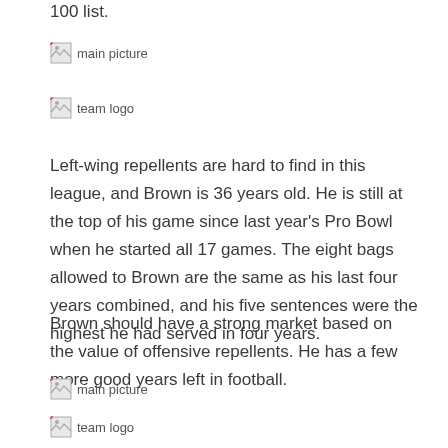100 list.
[Figure (photo): main picture (broken image placeholder)]
[Figure (logo): team logo (broken image placeholder)]
Left-wing repellents are hard to find in this league, and Brown is 36 years old. He is still at the top of his game since last year's Pro Bowl when he started all 17 games. The eight bags allowed to Brown are the same as his last four years combined, and his five sentences were the highest he had served in four years.
Brown should have a strong market based on the value of offensive repellents. He has a few more good years left in football.
[Figure (photo): main picture (broken image placeholder)]
[Figure (logo): team logo (broken image placeholder)]